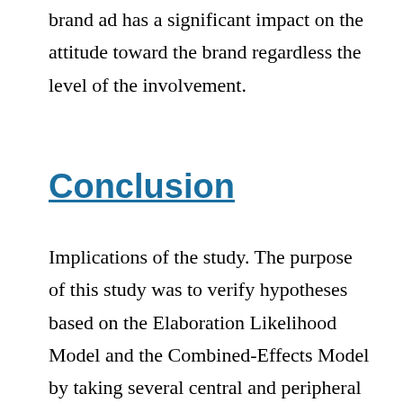brand ad has a significant impact on the attitude toward the brand regardless the level of the involvement.
Conclusion
Implications of the study. The purpose of this study was to verify hypotheses based on the Elaboration Likelihood Model and the Combined-Effects Model by taking several central and peripheral routes such as the attitude toward the brand, the attitude toward